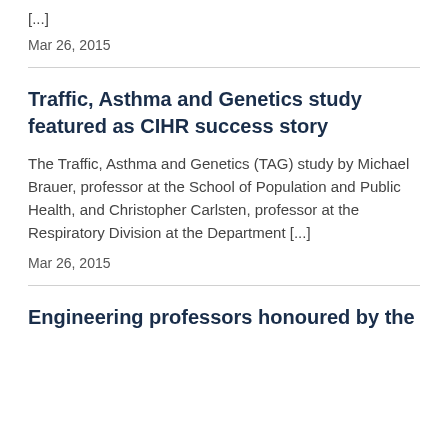[...]
Mar 26, 2015
Traffic, Asthma and Genetics study featured as CIHR success story
The Traffic, Asthma and Genetics (TAG) study by Michael Brauer, professor at the School of Population and Public Health, and Christopher Carlsten, professor at the Respiratory Division at the Department [...]
Mar 26, 2015
Engineering professors honoured by the